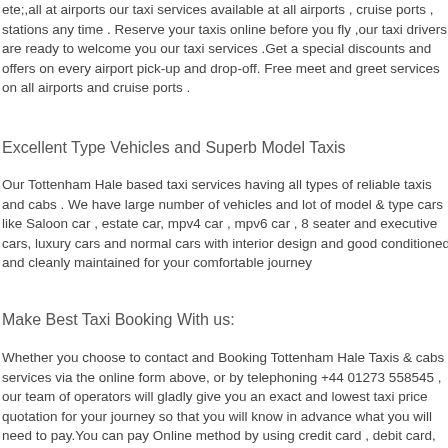ete;,all at airports our taxi services available at all airports , cruise ports , stations any time . Reserve your taxis online before you fly ,our taxi drivers are ready to welcome you our taxi services .Get a special discounts and offers on every airport pick-up and drop-off. Free meet and greet services on all airports and cruise ports .
Excellent Type Vehicles and Superb Model Taxis
Our Tottenham Hale based taxi services having all types of reliable taxis and cabs . We have large number of vehicles and lot of model & type cars like Saloon car , estate car, mpv4 car , mpv6 car , 8 seater and executive cars, luxury cars and normal cars with interior design and good conditioned and cleanly maintained for your comfortable journey
Make Best Taxi Booking With us:
Whether you choose to contact  and Booking Tottenham Hale Taxis & cabs  services via the online form above, or by telephoning +44 01273 558545 , our team of operators will gladly give you an exact and lowest taxi price quotation for your journey so that you will know in advance what you will need to pay.You can pay Online method by using credit card , debit card, pay pal and all cards are accepted or you can give cash to the driver. We have 24 hours "Online Live Chat support" for